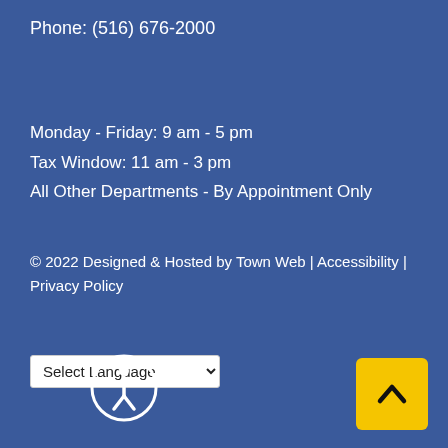Phone: (516) 676-2000
Monday - Friday: 9 am - 5 pm
Tax Window: 11 am - 3 pm
All Other Departments - By Appointment Only
© 2022 Designed & Hosted by Town Web | Accessibility | Privacy Policy
[Figure (other): Select Language dropdown selector]
[Figure (other): Accessibility icon - circular icon with person figure inside a circle]
[Figure (other): Back to top button - yellow square with upward chevron arrow]